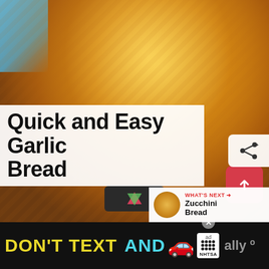[Figure (photo): Close-up photo of garlic bread with golden crust, herbs and garlic visible, on a blue background surface]
Quick and Easy Garlic Bread
WHAT'S NEXT → Zucchini Bread
[Figure (screenshot): Advertisement bar at bottom: DON'T TEXT AND [car emoji] with NHTSA ad logo and close button]